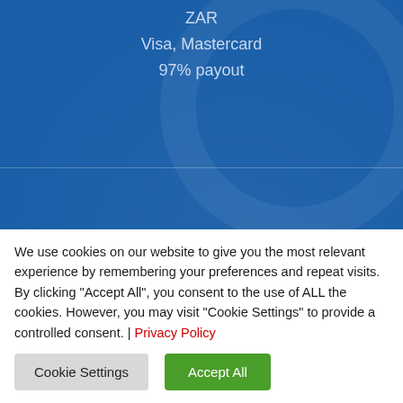ZAR
Visa, Mastercard
97% payout
[Figure (screenshot): Green Review button on blue casino card background]
[Figure (screenshot): Red Play Now button on blue casino card background]
[Figure (screenshot): Blue card strip with diamond icon and number 4]
We use cookies on our website to give you the most relevant experience by remembering your preferences and repeat visits. By clicking "Accept All", you consent to the use of ALL the cookies. However, you may visit "Cookie Settings" to provide a controlled consent. | Privacy Policy
[Figure (screenshot): Cookie Settings button (grey) and Accept All button (green)]